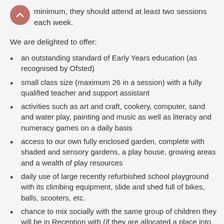minimum, they should attend at least two sessions each week.
We are delighted to offer:
an outstanding standard of Early Years education (as recognised by Ofsted)
small class size (maximum 26 in a session) with a fully qualified teacher and support assistant
activities such as art and craft, cookery, computer, sand and water play, painting and music as well as literacy and numeracy games on a daily basis
access to our own fully enclosed garden, complete with shaded and sensory gardens, a play house, growing areas and a wealth of play resources
daily use of large recently refurbished school playground with its climbing equipment, slide and shed full of bikes, balls, scooters, etc.
chance to mix socially with the same group of children they will be in Reception with (if they are allocated a place into Chestnut Lane School)
P.E. once or twice a week in the school hall or outside